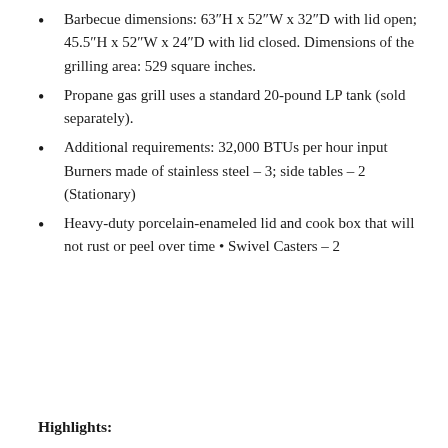Barbecue dimensions: 63’’H x 52’’W x 32’’D with lid open; 45.5’’H x 52’’W x 24’’D with lid closed. Dimensions of the grilling area: 529 square inches.
Propane gas grill uses a standard 20-pound LP tank (sold separately).
Additional requirements: 32,000 BTUs per hour input Burners made of stainless steel – 3; side tables – 2 (Stationary)
Heavy-duty porcelain-enameled lid and cook box that will not rust or peel over time • Swivel Casters – 2
Highlights: